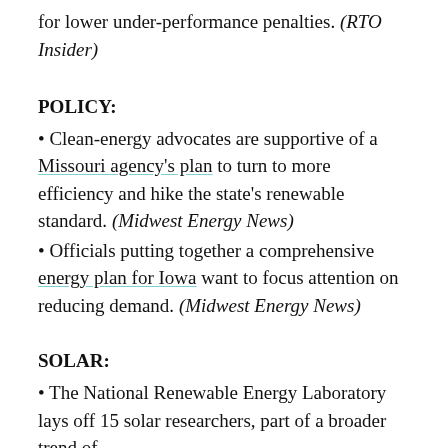for lower under-performance penalties. (RTO Insider)
POLICY:
• Clean-energy advocates are supportive of a Missouri agency's plan to turn to more efficiency and hike the state's renewable standard. (Midwest Energy News)
• Officials putting together a comprehensive energy plan for Iowa want to focus attention on reducing demand. (Midwest Energy News)
SOLAR:
• The National Renewable Energy Laboratory lays off 15 solar researchers, part of a broader trend of